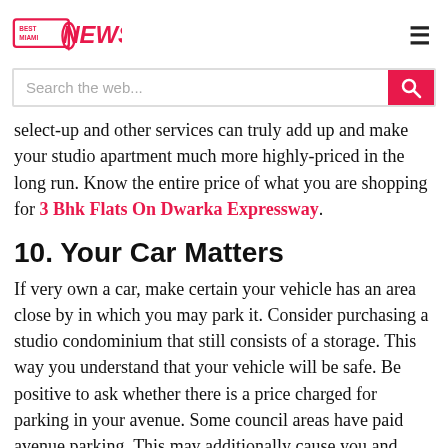Best Miami News
select-up and other services can truly add up and make your studio apartment much more highly-priced in the long run. Know the entire price of what you are shopping for 3 Bhk Flats On Dwarka Expressway.
10. Your Car Matters
If very own a car, make certain your vehicle has an area close by in which you may park it. Consider purchasing a studio condominium that still consists of a storage. This way you understand that your vehicle will be safe. Be positive to ask whether there is a price charged for parking in your avenue. Some council areas have paid avenue parking. This may additionally cause you and your site visitors a huge inconvenience 3 Bhk On Dwarka